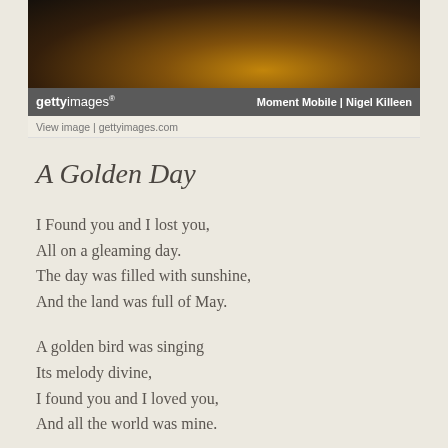[Figure (photo): Dark golden landscape photo with warm amber light, used as decorative header image from Getty Images]
gettyimages® Moment Mobile | Nigel Killeen
View image | gettyimages.com
A Golden Day
I Found you and I lost you,
All on a gleaming day.
The day was filled with sunshine,
And the land was full of May.

A golden bird was singing
Its melody divine,
I found you and I loved you,
And all the world was mine.